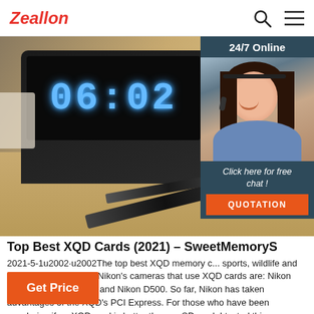Zeallon  [search icon] [menu icon]
[Figure (photo): Hero photo of a digital alarm clock on a wooden desk showing 06:02 and T&G 28°C, with pens in the foreground]
[Figure (photo): 24/7 Online customer support agent - woman with headset smiling, with Click here for free chat and QUOTATION button overlay]
Top Best XQD Cards (2021) – SweetMemoryS
2021-5-1u2002·u2002The top best XQD memory c... sports, wildlife and action photographers. Nikon's cameras that use XQD cards are: Nikon D4, Nikon Nikon D850 and Nikon D500. So far, Nikon has taken advantages of the XQD's PCI Express. For those who have been wondering if an XQD card is better than an SD card, I tested this ...
Get Price